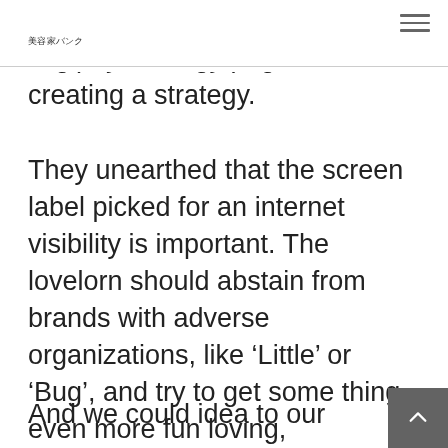美容家バンク
creating a strategy.
They unearthed that the screen label picked for an internet visibility is important. The lovelorn should abstain from brands with adverse organizations, like ‘Little’ or ‘Bug’, and try to get some thing even more fun loving, particularly ‘Fun2bwith’ because this kind of name’s universally attractive.
And we could idea to our minds is that d